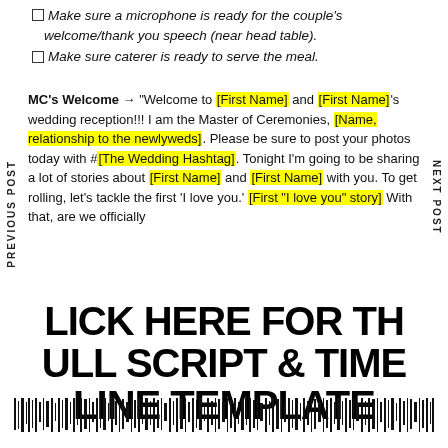Make sure a microphone is ready for the couple's welcome/thank you speech (near head table).
Make sure caterer is ready to serve the meal.
MC's Welcome → "Welcome to [First Name] and [First Name]'s wedding reception!!! I am the Master of Ceremonies, [Name, relationship to the newlyweds]. Please be sure to post your photos today with #[The Wedding Hashtag]. Tonight I'm going to be sharing a lot of stories about [First Name] and [First Name] with you. To get rolling, let's tackle the first 'I love you.' [First 'I love you' story] With that, are we officially...
CLICK HERE FOR THE FULL SCRIPT & TIMELINE TEMPLATE
[Figure (other): Decorative barcode/text pattern at bottom of page]